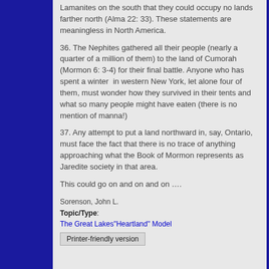Lamanites on the south that they could occupy no lands farther north (Alma 22: 33). These statements are meaningless in North America.
36. The Nephites gathered all their people (nearly a quarter of a million of them) to the land of Cumorah (Mormon 6: 3-4) for their final battle. Anyone who has spent a winter in western New York, let alone four of them, must wonder how they survived in their tents and what so many people might have eaten (there is no mention of manna!)
37. Any attempt to put a land northward in, say, Ontario, must face the fact that there is no trace of anything approaching what the Book of Mormon represents as Jaredite society in that area.
This could go on and on and on ….
Sorenson, John L.
Topic/Type:
The Great Lakes "Heartland" Model
Printer-friendly version